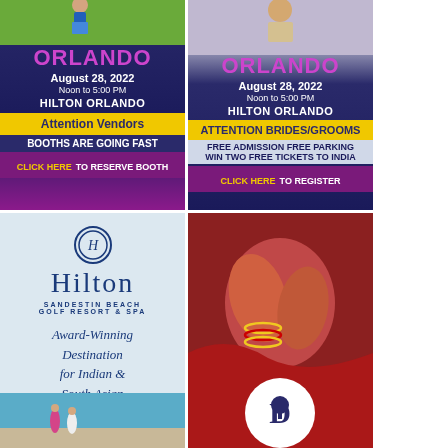[Figure (illustration): Left top advertisement: Orlando bridal show, August 28, 2022, Noon to 5:00 PM, Hilton Orlando. Attention Vendors - Booths are going fast. Click Here to Reserve Booth.]
[Figure (illustration): Right top advertisement: Orlando bridal show, August 28, 2022, Noon to 5:00 PM, Hilton Orlando. Attention Brides/Grooms - Free Admission Free Parking, Win Two Free Tickets to India. Click Here to Register.]
[Figure (illustration): Left bottom advertisement: Hilton Sandestin Beach Golf Resort & Spa. Award-Winning Destination for Indian & South Asian Weddings.]
[Figure (photo): Right bottom: Wedding photo of Indian bride and groom hands with henna and bangles. Drury Hotels logo circle at bottom.]